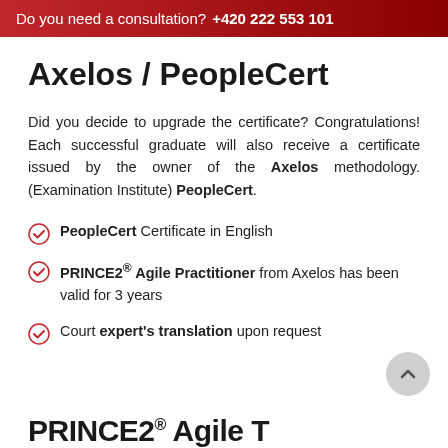Do you need a consultation? +420 222 553 101
Axelos / PeopleCert
Did you decide to upgrade the certificate? Congratulations! Each successful graduate will also receive a certificate issued by the owner of the Axelos methodology. (Examination Institute) PeopleCert.
PeopleCert Certificate in English
PRINCE2® Agile Practitioner from Axelos has been valid for 3 years
Court expert's translation upon request